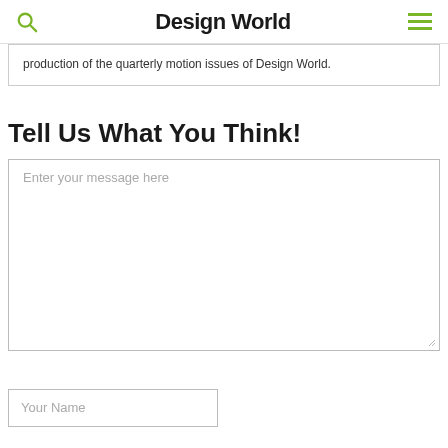Design World
production of the quarterly motion issues of Design World.
Tell Us What You Think!
Enter your message here
Your Name